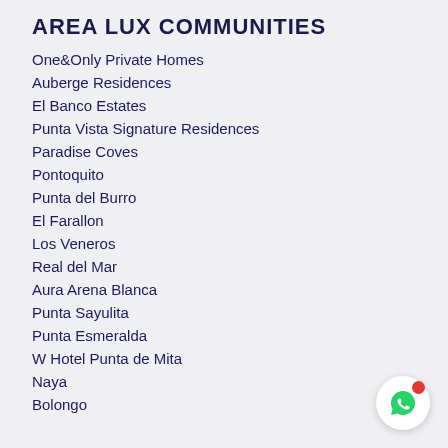AREA LUX COMMUNITIES
One&Only Private Homes
Auberge Residences
El Banco Estates
Punta Vista Signature Residences
Paradise Coves
Pontoquito
Punta del Burro
El Farallon
Los Veneros
Real del Mar
Aura Arena Blanca
Punta Sayulita
Punta Esmeralda
W Hotel Punta de Mita
Naya
Bolongo
[Figure (illustration): WhatsApp contact button with red notification dot]